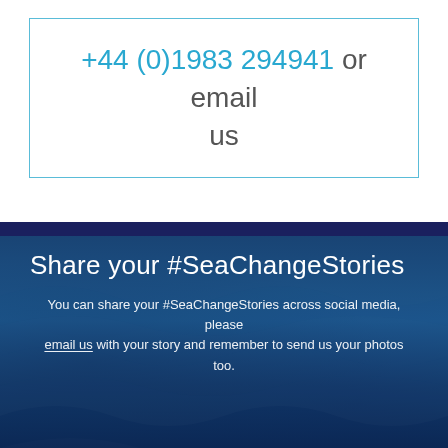+44 (0)1983 294941 or email us
Share your #SeaChangeStories
You can share your #SeaChangeStories across social media, please email us with your story and remember to send us your photos too.